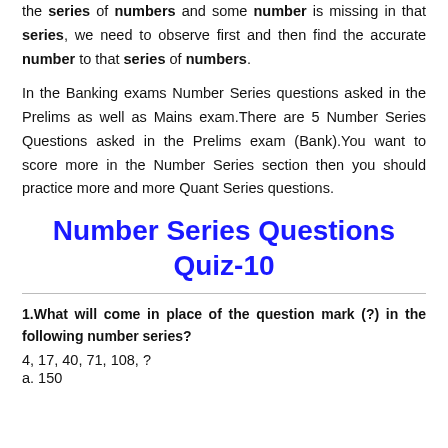the series of numbers and some number is missing in that series, we need to observe first and then find the accurate number to that series of numbers.
In the Banking exams Number Series questions asked in the Prelims as well as Mains exam.There are 5 Number Series Questions asked in the Prelims exam (Bank).You want to score more in the Number Series section then you should practice more and more Quant Series questions.
Number Series Questions Quiz-10
1.What will come in place of the question mark (?) in the following number series?
4, 17, 40, 71, 108, ?
a. 150